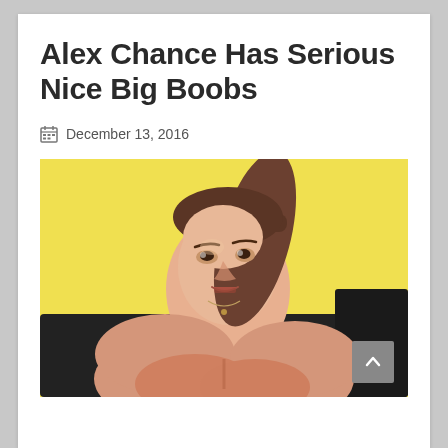Alex Chance Has Serious Nice Big Boobs
December 13, 2016
[Figure (photo): A young brunette woman with a ponytail, wearing a necklace, posing in front of a black leather couch with a yellow background. She is looking at the camera with an open mouth expression.]